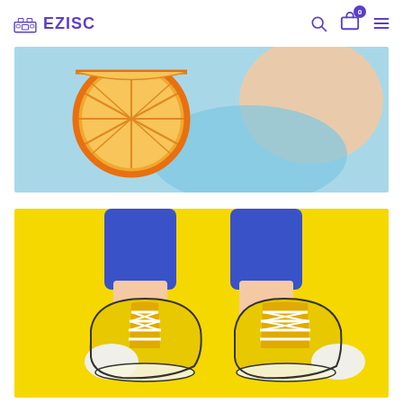EZISC — navigation header with logo, search, cart (0), and menu icons
[Figure (photo): Lifestyle photo on light blue background showing an orange slice and a hand or peach-colored item with a blue shadow]
[Figure (photo): Overhead view of yellow canvas sneakers (Converse-style) on bright yellow background, worn with blue trousers]